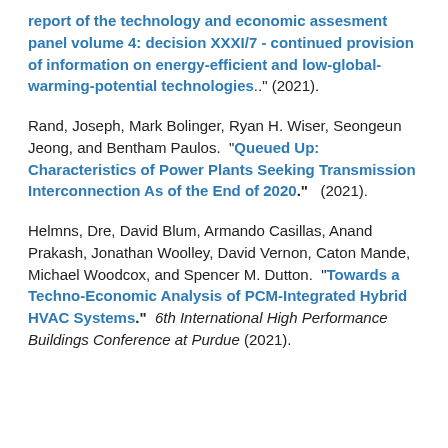report of the technology and economic assesment panel volume 4: decision XXXI/7 - continued provision of information on energy-efficient and low-global-warming-potential technologies.. (2021).
Rand, Joseph, Mark Bolinger, Ryan H. Wiser, Seongeun Jeong, and Bentham Paulos. "Queued Up: Characteristics of Power Plants Seeking Transmission Interconnection As of the End of 2020." (2021).
Helmns, Dre, David Blum, Armando Casillas, Anand Prakash, Jonathan Woolley, David Vernon, Caton Mande, Michael Woodcox, and Spencer M. Dutton. "Towards a Techno-Economic Analysis of PCM-Integrated Hybrid HVAC Systems." 6th International High Performance Buildings Conference at Purdue (2021).